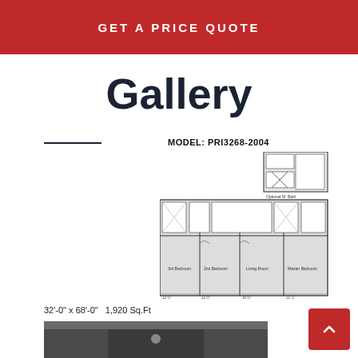GET A PRICE QUOTE
Gallery
MODEL: PRI3268-2004
[Figure (schematic): Floor plan schematic for model PRI3268-2004 showing layout with 3rd Bedroom, 2nd Bedroom, Living Room, Master Bedroom, kitchen, bathrooms, and optional M. Bath addition. Dimensions shown on plan.]
32'-0" x 68'-0"   1,920 Sq.Ft
[Figure (photo): Partial photo of interior, appears to show ceiling or kitchen area, dark tones.]